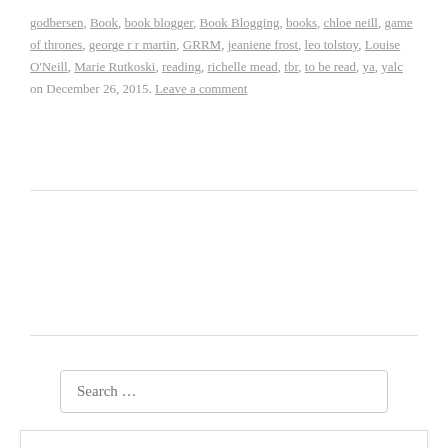godbersen, Book, book blogger, Book Blogging, books, chloe neill, game of thrones, george r r martin, GRRM, jeaniene frost, leo tolstoy, Louise O'Neill, Marie Rutkoski, reading, richelle mead, tbr, to be read, ya, yalc on December 26, 2015. Leave a comment
Search …
Privacy & Cookies: This site uses cookies. By continuing to use this website, you agree to their use. To find out more, including how to control cookies, see here: Cookie Policy
Close and accept